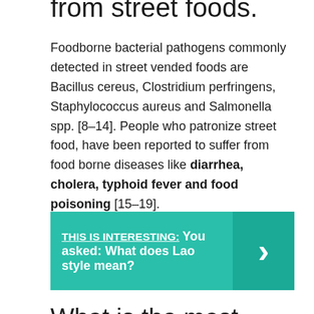from street foods.
Foodborne bacterial pathogens commonly detected in street vended foods are Bacillus cereus, Clostridium perfringens, Staphylococcus aureus and Salmonella spp. [8–14]. People who patronize street food, have been reported to suffer from food borne diseases like diarrhea, cholera, typhoid fever and food poisoning [15–19].
[Figure (infographic): Teal banner with text 'THIS IS INTERESTING: You asked: What does Lao style mean?' and a right-arrow chevron on the right side]
What is the most delicious street food?